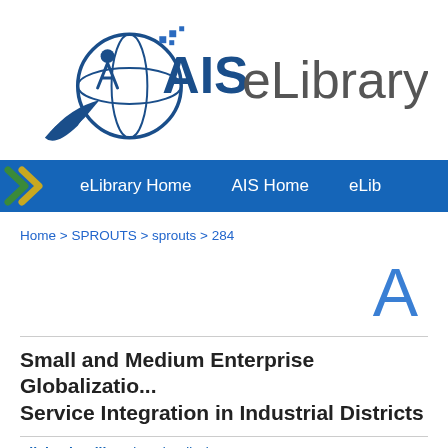[Figure (logo): AIS eLibrary logo with globe and figure icon, navy blue and teal colors, with text 'AIS eLibrary']
eLibrary Home   AIS Home   eLib...
Home > SPROUTS > sprouts > 284
A
Small and Medium Enterprise Globalization and Service Integration in Industrial Districts
Silvia Fiorelli, Universita di Pisa